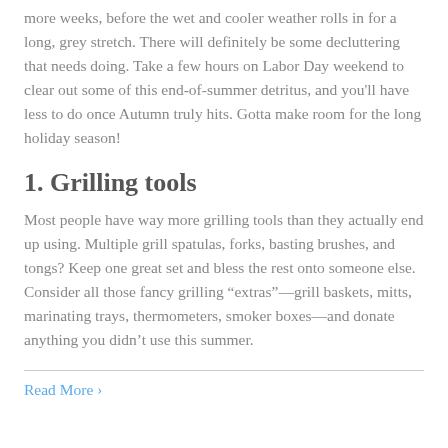more weeks, before the wet and cooler weather rolls in for a long, grey stretch. There will definitely be some decluttering that needs doing. Take a few hours on Labor Day weekend to clear out some of this end-of-summer detritus, and you’ll have less to do once Autumn truly hits. Gotta make room for the long holiday season!
1. Grilling tools
Most people have way more grilling tools than they actually end up using. Multiple grill spatulas, forks, basting brushes, and tongs? Keep one great set and bless the rest onto someone else. Consider all those fancy grilling “extras”—grill baskets, mitts, marinating trays, thermometers, smoker boxes—and donate anything you didn’t use this summer.
Read More ›